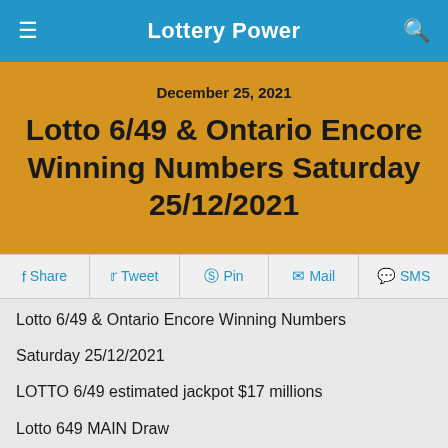Lottery Power
December 25, 2021
Lotto 6/49 & Ontario Encore Winning Numbers Saturday 25/12/2021
Share  Tweet  Pin  Mail  SMS
Lotto 6/49 & Ontario Encore Winning Numbers
Saturday 25/12/2021
LOTTO 6/49 estimated jackpot $17 millions
Lotto 649 MAIN Draw